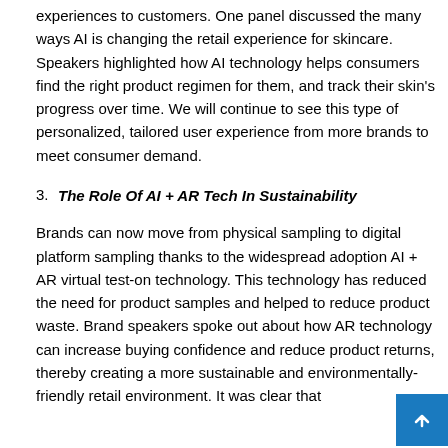experiences to customers. One panel discussed the many ways AI is changing the retail experience for skincare. Speakers highlighted how AI technology helps consumers find the right product regimen for them, and track their skin's progress over time. We will continue to see this type of personalized, tailored user experience from more brands to meet consumer demand.
3. The Role Of AI + AR Tech In Sustainability
Brands can now move from physical sampling to digital platform sampling thanks to the widespread adoption AI + AR virtual test-on technology. This technology has reduced the need for product samples and helped to reduce product waste. Brand speakers spoke out about how AR technology can increase buying confidence and reduce product returns, thereby creating a more sustainable and environmentally-friendly retail environment. It was clear that